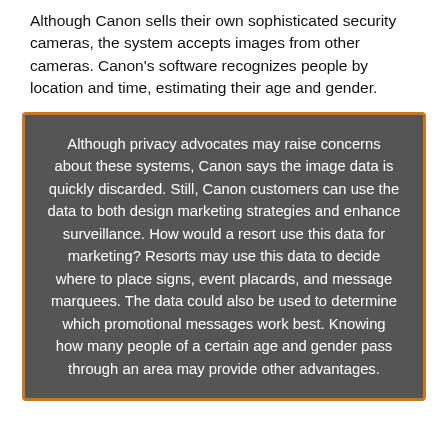Although Canon sells their own sophisticated security cameras, the system accepts images from other cameras. Canon's software recognizes people by location and time, estimating their age and gender.
Although privacy advocates may raise concerns about these systems, Canon says the image data is quickly discarded. Still, Canon customers can use the data to both design marketing strategies and enhance surveillance. How would a resort use this data for marketing? Resorts may use this data to decide where to place signs, event placards, and message marquees. The data could also be used to determine which promotional messages work best. Knowing how many people of a certain age and gender pass through an area may provide other advantages.